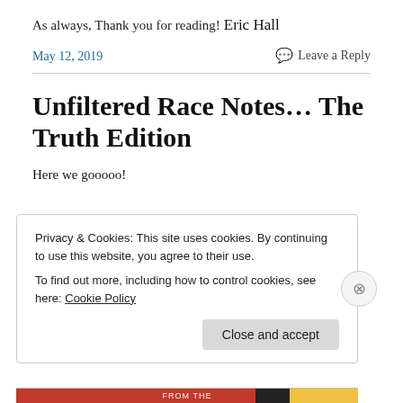As always, Thank you for reading!
Eric Hall
May 12, 2019
Leave a Reply
Unfiltered Race Notes… The Truth Edition
Here we gooooo!
Privacy & Cookies: This site uses cookies. By continuing to use this website, you agree to their use.
To find out more, including how to control cookies, see here: Cookie Policy
Close and accept